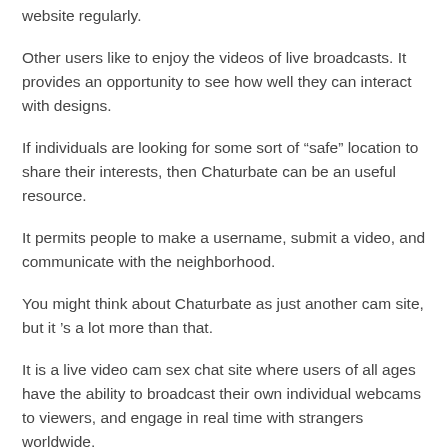website regularly.
Other users like to enjoy the videos of live broadcasts. It provides an opportunity to see how well they can interact with designs.
If individuals are looking for some sort of “safe” location to share their interests, then Chaturbate can be an useful resource.
It permits people to make a username, submit a video, and communicate with the neighborhood.
You might think about Chaturbate as just another cam site, but it ’s a lot more than that.
It is a live video cam sex chat site where users of all ages have the ability to broadcast their own individual webcams to viewers, and engage in real time with strangers worldwide.
The classification of Chaturbate audiences is quite diverse.